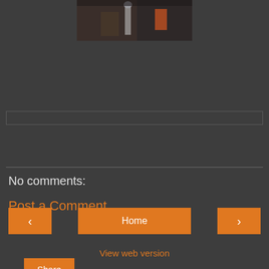[Figure (photo): Photo of people sitting at a restaurant table with drinks, partially cropped at top of page]
Share
No comments:
Post a Comment
‹
Home
›
View web version